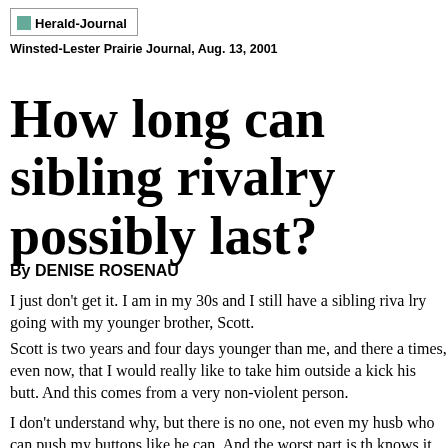[Figure (logo): Herald-Journal newspaper logo with small image icon]
Winsted-Lester Prairie Journal, Aug. 13, 2001
How long can sibling rivalry possibly last?
By DENISE ROSENAU
I just don't get it. I am in my 30s and I still have a sibling rivalry going with my younger brother, Scott.
Scott is two years and four days younger than me, and there are times, even now, that I would really like to take him outside and kick his butt. And this comes from a very non-violent person.
I don't understand why, but there is no one, not even my husband, who can push my buttons like he can. And the worst part is that he knows it, and I believe, enjoys it.